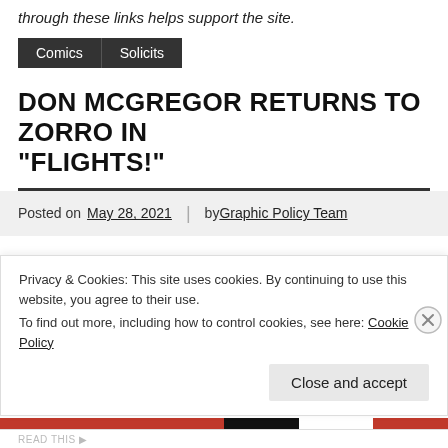through these links helps support the site.
Comics
Solicits
DON MCGREGOR RETURNS TO ZORRO IN "FLIGHTS!"
Posted on May 28, 2021 | by Graphic Policy Team
Veteran comic book scribe Don McGregor – the man who breathed four-color life into Marvel Comics' Black
Privacy & Cookies: This site uses cookies. By continuing to use this website, you agree to their use.
To find out more, including how to control cookies, see here: Cookie Policy
Close and accept